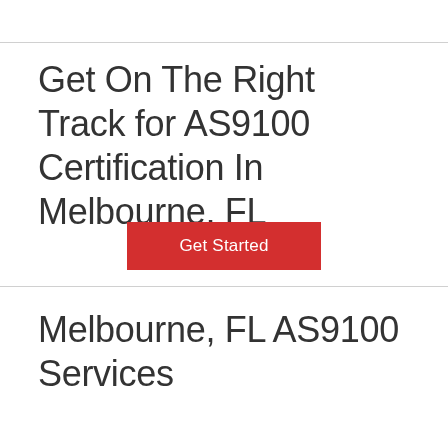Get On The Right Track for AS9100 Certification In Melbourne, FL
Get Started
Melbourne, FL AS9100 Services